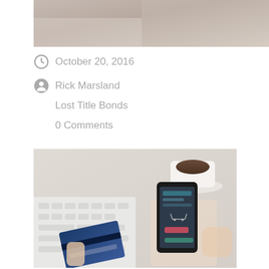[Figure (photo): Top cropped photo showing a desk scene with hands and keyboard on a light wood surface]
October 20, 2016
Rick Marsland
Lost Title Bonds
0 Comments
[Figure (photo): Photo of hands holding a smartphone showing an online shopping checkout screen with a credit card, with a keyboard and coffee cup in the background]